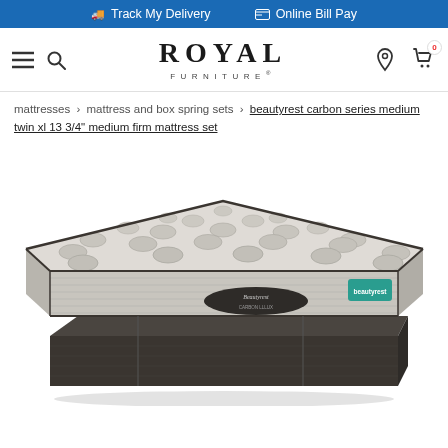Track My Delivery   Online Bill Pay
[Figure (logo): Royal Furniture logo with hamburger menu and search icon on left, location pin and shopping cart icons on right]
mattresses > mattress and box spring sets > beautyrest carbon series medium twin xl 13 3/4" medium firm mattress set
[Figure (photo): Beautyrest Carbon Series medium firm mattress set shown in perspective view, featuring a tufted white/grey fabric top with horizontal striped sides, dark brown/charcoal base, a teal Beautyrest tag on the right side, and a dark oval logo badge on the front]